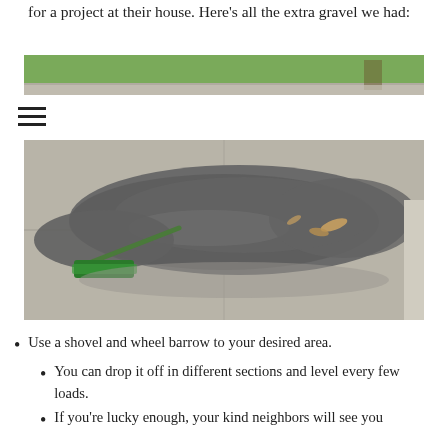for a project at their house. Here's all the extra gravel we had:
[Figure (photo): Partial view of a lawn and driveway area showing green grass, a sidewalk, and a tree — top portion of a photo.]
[Figure (other): Hamburger menu icon (three horizontal lines).]
[Figure (photo): A large pile of gray gravel spread out on a concrete driveway, with a green push broom leaning against it and a few leaves scattered on top.]
Use a shovel and wheel barrow to your desired area.
You can drop it off in different sections and level every few loads.
If you're lucky enough, your kind neighbors will see you